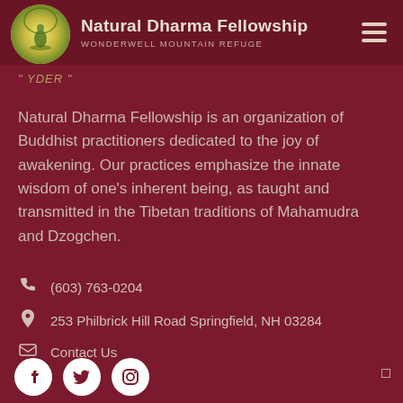Natural Dharma Fellowship | WONDERWELL MOUNTAIN REFUGE
" YDER "
Natural Dharma Fellowship is an organization of Buddhist practitioners dedicated to the joy of awakening. Our practices emphasize the innate wisdom of one's inherent being, as taught and transmitted in the Tibetan traditions of Mahamudra and Dzogchen.
(603) 763-0204
253 Philbrick Hill Road Springfield, NH 03284
Contact Us